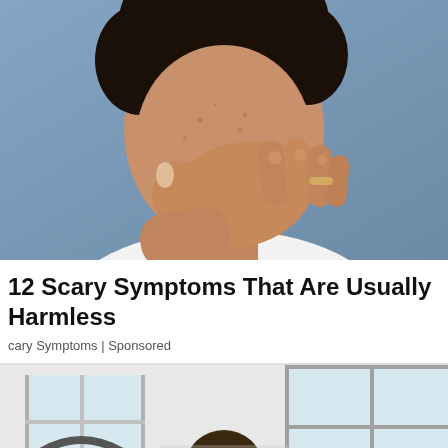[Figure (photo): Close-up photo of a young man covering his mouth with his hand, wearing a white speckled sweater, against a blue background]
12 Scary Symptoms That Are Usually Harmless
cary Symptoms | Sponsored
[Figure (photo): Partial photo showing a person and interior with windows, bottom of page]